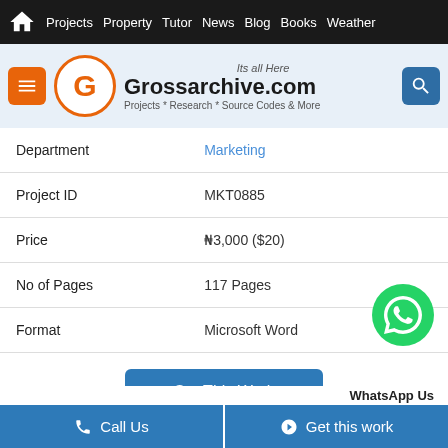Projects  Property  Tutor  News  Blog  Books  Weather
[Figure (logo): Grossarchive.com logo with orange G circle, menu button, and search button. Tagline: Its all Here. Projects * Research * Source Codes & More]
| Department | Marketing |
| Project ID | MKT0885 |
| Price | ₦3,000 ($20) |
| No of Pages | 117 Pages |
| Format | Microsoft Word |
Get This Work
No Comments
WhatsApp Us
Call Us   Get this work